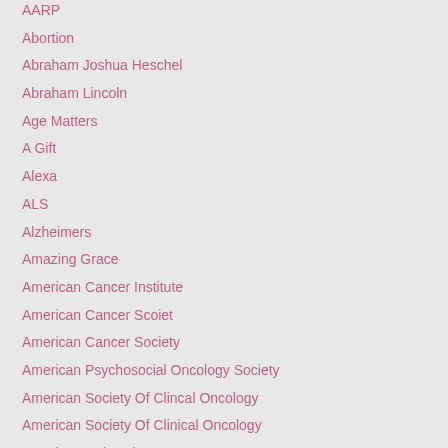AARP
Abortion
Abraham Joshua Heschel
Abraham Lincoln
Age Matters
A Gift
Alexa
ALS
Alzheimers
Amazing Grace
American Cancer Institute
American Cancer Scoiet
American Cancer Society
American Psychosocial Oncology Society
American Society Of Clincal Oncology
American Society Of Clinical Oncology
American University
Amy Oestreicher
ANDTheater Company
Angie's List